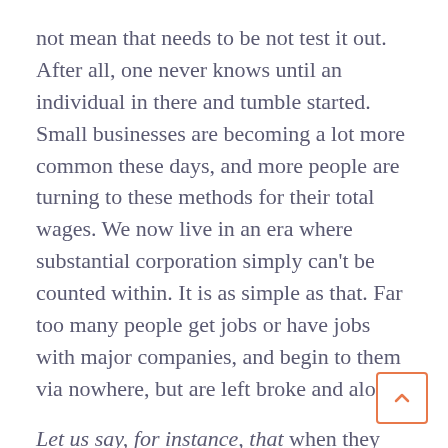not mean that needs to be not test it out. After all, one never knows until an individual in there and tumble started. Small businesses are becoming a lot more common these days, and more people are turning to these methods for their total wages. We now live in an era where substantial corporation simply can't be counted within. It is as simple as that. Far too many people get jobs or have jobs with major companies, and begin to them via nowhere, but are left broke and alone.
Let us say, for instance, that when they are all your efforts, you suddenly receive a notification inside your mailbox that the tax return is subject for auditing. What do you do then? That isn't know for you to do, then the first thing will be to